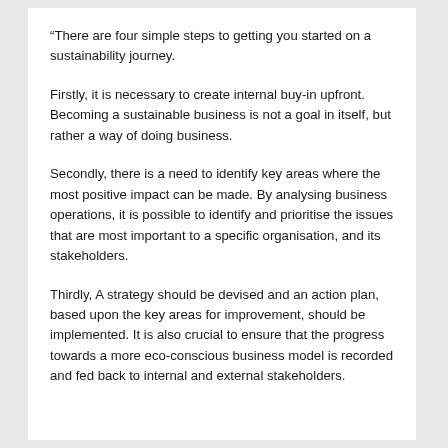“There are four simple steps to getting you started on a sustainability journey.
Firstly, it is necessary to create internal buy-in upfront. Becoming a sustainable business is not a goal in itself, but rather a way of doing business.
Secondly, there is a need to identify key areas where the most positive impact can be made. By analysing business operations, it is possible to identify and prioritise the issues that are most important to a specific organisation, and its stakeholders.
Thirdly, A strategy should be devised and an action plan, based upon the key areas for improvement, should be implemented. It is also crucial to ensure that the progress towards a more eco-conscious business model is recorded and fed back to internal and external stakeholders.